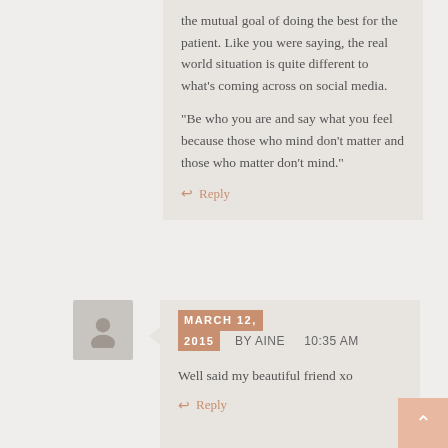the mutual goal of doing the best for the patient. Like you were saying, the real world situation is quite different to what's coming across on social media.
“Be who you are and say what you feel because those who mind don’t matter and those who matter don’t mind.”
Reply
MARCH 12, 2015  BY AINE  10:35 AM
Well said my beautiful friend xo
Reply